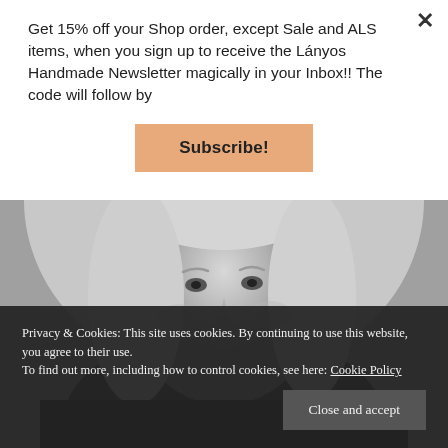[Figure (photo): Black and white portrait photo of an older woman with shoulder-length grey/white hair, smiling slightly, wearing dark clothing, looking toward the viewer.]
Get 15% off your Shop order, except Sale and ALS items, when you sign up to receive the Lányos Handmade Newsletter magically in your Inbox!! The code will follow by
Subscribe!
Privacy & Cookies: This site uses cookies. By continuing to use this website, you agree to their use.
To find out more, including how to control cookies, see here: Cookie Policy
Close and accept